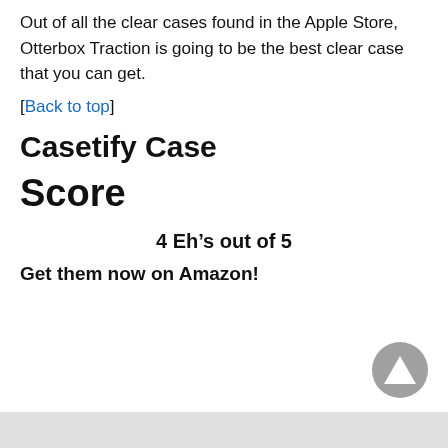Out of all the clear cases found in the Apple Store, Otterbox Traction is going to be the best clear case that you can get.
[Back to top]
Casetify Case
Score
4 Eh’s out of 5
Get them now on Amazon!